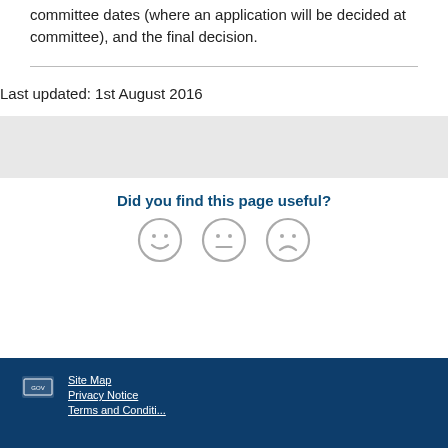committee dates (where an application will be decided at committee), and the final decision.
Last updated: 1st August 2016
Did you find this page useful?
[Figure (infographic): Three emoji faces: smiley, neutral, sad — for user feedback rating]
Site Map
Privacy Notice
Terms and Conditions